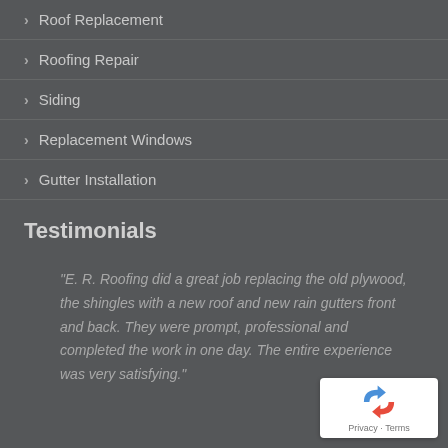Roof Replacement
Roofing Repair
Siding
Replacement Windows
Gutter Installation
Testimonials
"E. R. Roofing did a great job replacing the old plywood, the shingles with a new roof and new rain gutters front and back. They were prompt, professional and completed the work in one day. The entire experience was very satisfying."